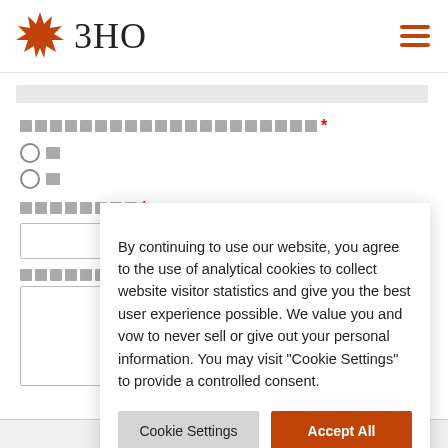3HO
[Redacted form field label] *
[Radio option 1]
[Radio option 2]
[Redacted field label] *
[Redacted textarea label]
By continuing to use our website, you agree to the use of analytical cookies to collect website visitor statistics and give you the best user experience possible. We value you and vow to never sell or give out your personal information. You may visit "Cookie Settings" to provide a controlled consent.
Cookie Settings
Accept All
Read More